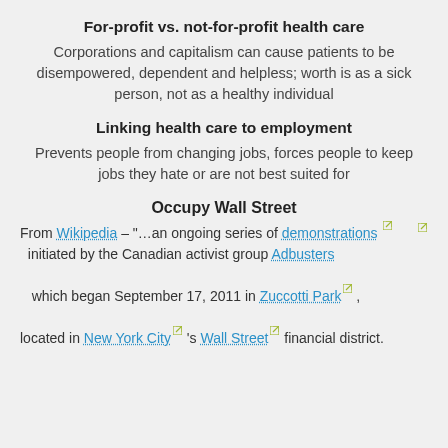For-profit vs. not-for-profit health care
Corporations and capitalism can cause patients to be disempowered, dependent and helpless; worth is as a sick person, not as a healthy individual
Linking health care to employment
Prevents people from changing jobs, forces people to keep jobs they hate or are not best suited for
Occupy Wall Street
From Wikipedia – "…an ongoing series of demonstrations initiated by the Canadian activist group Adbusters which began September 17, 2011 in Zuccotti Park, located in New York City's Wall Street financial district.